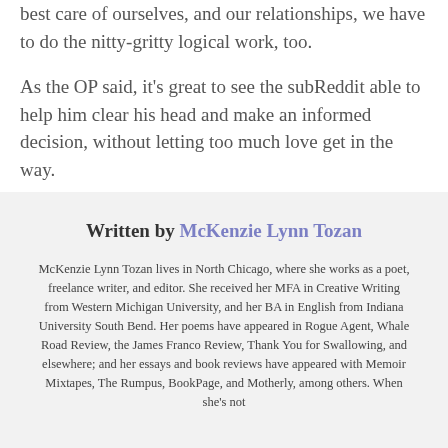best care of ourselves, and our relationships, we have to do the nitty-gritty logical work, too.
As the OP said, it's great to see the subReddit able to help him clear his head and make an informed decision, without letting too much love get in the way.
Written by McKenzie Lynn Tozan
McKenzie Lynn Tozan lives in North Chicago, where she works as a poet, freelance writer, and editor. She received her MFA in Creative Writing from Western Michigan University, and her BA in English from Indiana University South Bend. Her poems have appeared in Rogue Agent, Whale Road Review, the James Franco Review, Thank You for Swallowing, and elsewhere; and her essays and book reviews have appeared with Memoir Mixtapes, The Rumpus, BookPage, and Motherly, among others. When she's not